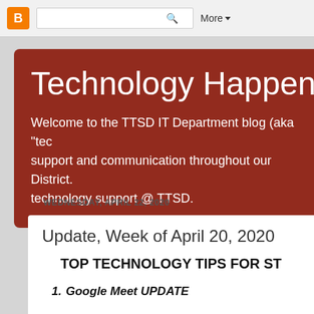[Figure (screenshot): Blogger navigation bar with orange B icon, search box, and More dropdown button]
Technology Happenings @
Welcome to the TTSD IT Department blog (aka "tec support and communication throughout our District. technology support @ TTSD.
WEDNESDAY, APRIL 22, 2020
Update, Week of April 20, 2020
TOP TECHNOLOGY TIPS FOR ST
1.   Google Meet UPDATE